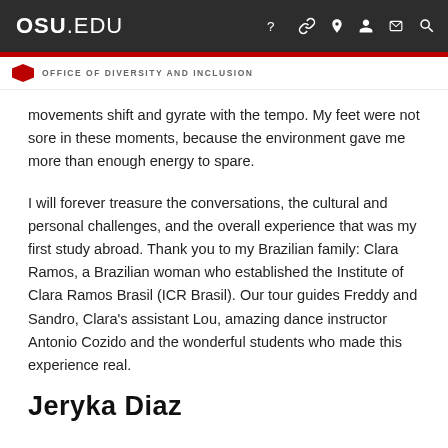OSU.EDU
OFFICE OF DIVERSITY AND INCLUSION
movements shift and gyrate with the tempo. My feet were not sore in these moments, because the environment gave me more than enough energy to spare.
I will forever treasure the conversations, the cultural and personal challenges, and the overall experience that was my first study abroad. Thank you to my Brazilian family: Clara Ramos, a Brazilian woman who established the Institute of Clara Ramos Brasil (ICR Brasil). Our tour guides Freddy and Sandro, Clara's assistant Lou, amazing dance instructor Antonio Cozido and the wonderful students who made this experience real.
Jeryka Diaz